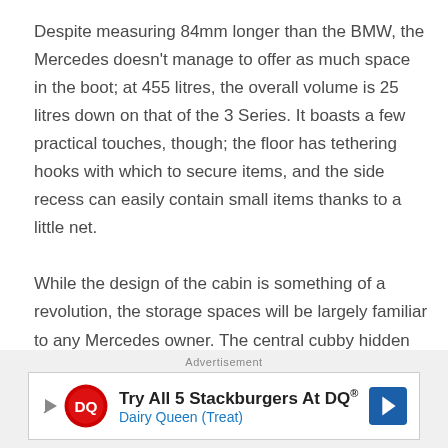Despite measuring 84mm longer than the BMW, the Mercedes doesn't manage to offer as much space in the boot; at 455 litres, the overall volume is 25 litres down on that of the 3 Series. It boasts a few practical touches, though; the floor has tethering hooks with which to secure items, and the side recess can easily contain small items thanks to a little net.

While the design of the cabin is something of a revolution, the storage spaces will be largely familiar to any Mercedes owner. The central cubby hidden beneath a small lid has
Advertisement
[Figure (other): Dairy Queen advertisement banner: 'Try All 5 Stackburgers At DQ® Dairy Queen (Treat)' with DQ logo and navigation arrow]